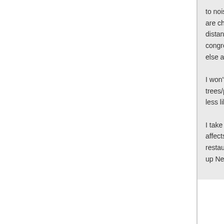to noise and apparently are characteristics of a distance, to socialize... congregating in the ar else around you.
I won't disagree with y trees/planters, not sur less like a Bourbon St
I take it you live on Ne affects drunk people i restaurants and bars f up Newark) and they d
[Figure (other): Up arrow / scroll-to-top icon button, blue upward arrow inside a square button]
JCman24
Home away from home
[Figure (photo): User avatar placeholder: grey box with white circle silhouette]
Re: Newark Avenue P
Sorry, I'm not seeing h wandering around. Wi